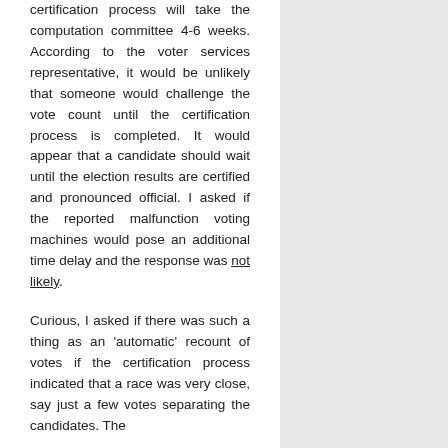certification process will take the computation committee 4-6 weeks. According to the voter services representative, it would be unlikely that someone would challenge the vote count until the certification process is completed. It would appear that a candidate should wait until the election results are certified and pronounced official. I asked if the reported malfunction voting machines would pose an additional time delay and the response was not likely.
Curious, I asked if there was such a thing as an 'automatic' recount of votes if the certification process indicated that a race was very close, say just a few votes separating the candidates. The